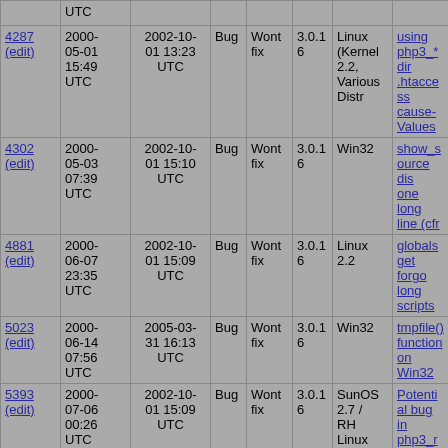| ID | Date opened | Date closed | Type | Status | Version | OS | Summary |
| --- | --- | --- | --- | --- | --- | --- | --- |
| (UTC) |  |  |  |  |  |  |  |
| 4287 (edit) | 2000-05-01 15:49 UTC | 2002-10-01 13:23 UTC | Bug | Wont fix | 3.0.16 | Linux (Kernel 2.2, Various Distr | using php3_* dir .htaccess cause- Values |
| 4302 (edit) | 2000-05-03 07:39 UTC | 2002-10-01 15:10 UTC | Bug | Wont fix | 3.0.16 | Win32 | show_source dis one long line (cfr |
| 4881 (edit) | 2000-06-07 23:35 UTC | 2002-10-01 15:09 UTC | Bug | Wont fix | 3.0.16 | Linux 2.2 | globals get forgo long scripts |
| 5023 (edit) | 2000-06-14 07:56 UTC | 2005-03-31 16:13 UTC | Bug | Wont fix | 3.0.16 | Win32 | tmpfile() function on Win32 |
| 5393 (edit) | 2000-07-06 00:26 UTC | 2002-10-01 15:09 UTC | Bug | Wont fix | 3.0.16 | SunOS 2.7 / RH Linux 6.1 | Potential bug in php3_request_s- |
| 5920 (edit) | 2000-08-02 13:03 UTC | 2005-03-31 16:13 UTC | Bug | Wont fix | 3.0.16 | Redhat 6.1 | strange use of open_basedir str |